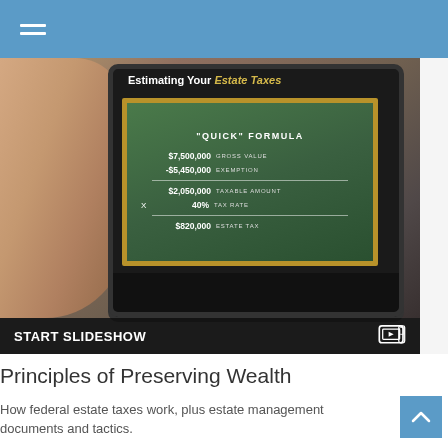[Figure (screenshot): A hand holding a tablet displaying a slideshow slide titled 'Estimating Your Estate Taxes' with a chalkboard showing a 'QUICK' FORMULA: $7,500,000 GROSS VALUE minus $5,450,000 EXEMPTION equals $2,050,000 TAXABLE AMOUNT times 40% TAX RATE equals $820,000 ESTATE TAX. Below the image is a 'START SLIDESHOW' bar with a play icon.]
Principles of Preserving Wealth
How federal estate taxes work, plus estate management documents and tactics.